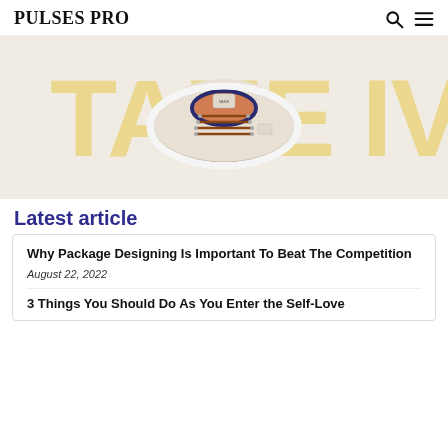PULSES PRO
[Figure (photo): Top-down view of a beige/cream Vans sneaker with brown laces and orange interior, positioned against a light background with large faded yellow text reading 'TAUE IV']
Latest article
Why Package Designing Is Important To Beat The Competition
August 22, 2022
3 Things You Should Do As You Enter the Self-Love